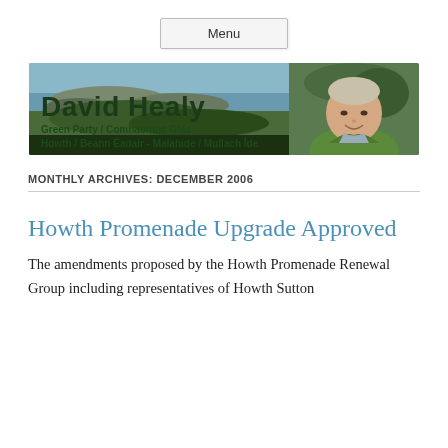[Figure (photo): Menu button - a light grey rectangular button with the text 'Menu' centered inside it, with a subtle border and shadow]
[Figure (photo): Banner image for David Healy, Green Party / Comhaontas Glas politician. Background shows a coastal/rocky shoreline scene. Text overlay reads 'David Healy', 'Green Party / Comhaontas Glas', 'Howth / Beann Éadair - Malahide / Mullach Íde'. A photo of a smiling middle-aged man with short grey/blonde hair wearing a green jacket is on the right side.]
MONTHLY ARCHIVES: DECEMBER 2006
Howth Promenade Upgrade Approved
The amendments proposed by the Howth Promenade Renewal Group including representatives of Howth Sutton